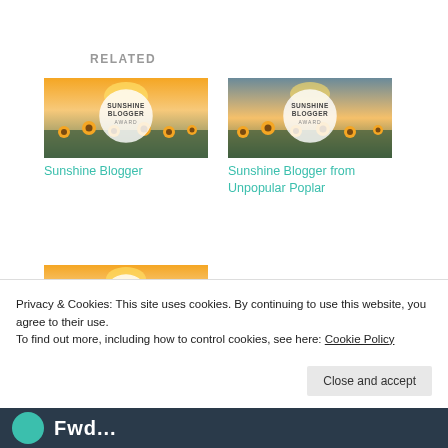RELATED
[Figure (photo): Sunshine Blogger Award badge over sunflower field background]
Sunshine Blogger
[Figure (photo): Sunshine Blogger Award badge over sunflower field background]
Sunshine Blogger from Unpopular Poplar
[Figure (photo): Sunshine Blogger Award badge over sunflower field background]
Privacy & Cookies: This site uses cookies. By continuing to use this website, you agree to their use.
To find out more, including how to control cookies, see here: Cookie Policy
Fwd...